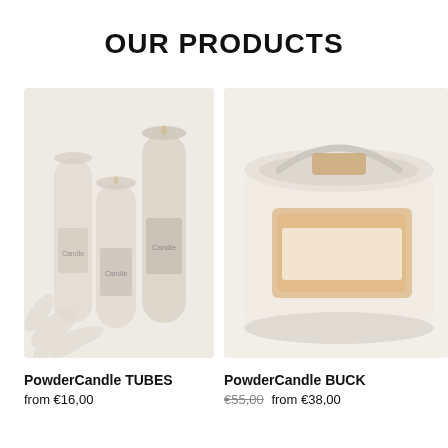OUR PRODUCTS
[Figure (photo): Product photo of PowderCandle TUBES — multiple cylindrical candle tubes arranged together, shown in light neutral tones]
PowderCandle TUBES
from €16,00
[Figure (photo): Product photo of PowderCandle BUCKET — a white bucket candle container with label, partially cropped on the right]
PowderCandle BUCK...
€55,00  from €38,00